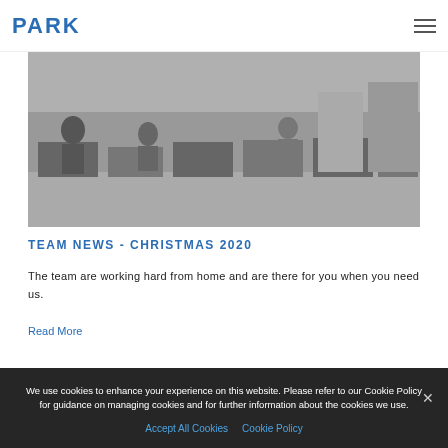PARK
[Figure (photo): Black and white vintage photo of an office with workers at desks, filing cabinets in background]
TEAM NEWS - CHRISTMAS 2020
The team are working hard from home and are there for you when you need us.
Read More
We use cookies to enhance your experience on this website. Please refer to our Cookie Policy for guidance on managing cookies and for further information about the cookies we use.
Accept All Cookies  Cookie Policy